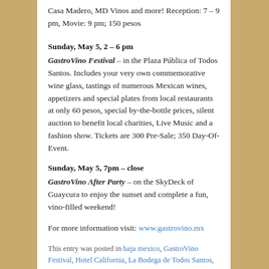Casa Madero, MD Vinos and more! Reception: 7 – 9 pm, Movie: 9 pm; 150 pesos
Sunday, May 5, 2 – 6 pm
GastroVino Festival – in the Plaza Pública of Todos Santos. Includes your very own commemorative wine glass, tastings of numerous Mexican wines, appetizers and special plates from local restaurants at only 60 pesos, special by-the-bottle prices, silent auction to benefit local charities, Live Music and a fashion show. Tickets are 300 Pre-Sale; 350 Day-Of-Event.
Sunday, May 5, 7pm – close
GastroVino After Party – on the SkyDeck of Guaycura to enjoy the sunset and complete a fun, vino-filled weekend!
For more information visit: www.gastrovino.mx
This entry was posted in baja mexico, GastroVino Festival, Hotel California, La Bodega de Todos Santos, Mexican wine, Santo Vino, The Distillery, todos santos, todos santos baja, todos santos baja mexico, Uncategorized and